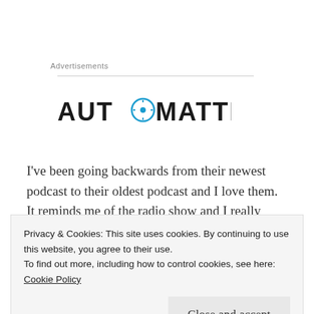Advertisements
[Figure (logo): Automattic logo in bold dark letters with a compass/clock icon replacing the letter O]
I've been going backwards from their newest podcast to their oldest podcast and I love them. It reminds me of the radio show and I really enjoy the banter between Pat and Lisa. I can
Privacy & Cookies: This site uses cookies. By continuing to use this website, you agree to their use.
To find out more, including how to control cookies, see here: Cookie Policy
Close and accept